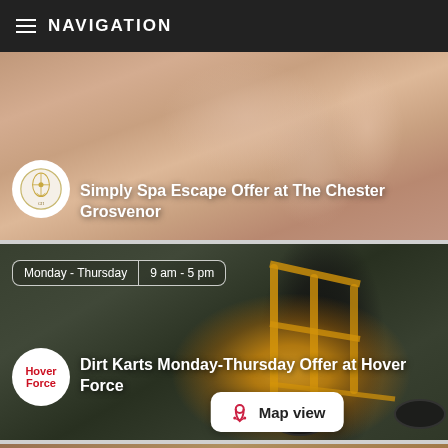NAVIGATION
[Figure (photo): Close-up photo of hands with manicured nails, spa/beauty context]
Simply Spa Escape Offer at The Chester Grosvenor
[Figure (photo): Photo of a yellow dirt kart/go-kart in a grassy outdoor setting]
Monday - Thursday
9 am - 5 pm
Dirt Karts Monday-Thursday Offer at Hover Force
Map view
[Figure (photo): Partial view of another card/offer at the bottom, outdoor scene]